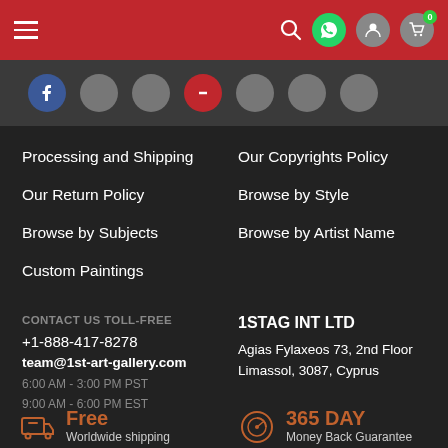Navigation bar with hamburger menu, search, WhatsApp, user, cart icons
[Figure (screenshot): Social media icon circles: Facebook (blue), gray circles, Pinterest (red), more gray circles]
Processing and Shipping
Our Return Policy
Browse by Subjects
Custom Paintings
Our Copyrights Policy
Browse by Style
Browse by Artist Name
CONTACT US TOLL-FREE
+1-888-417-8278
team@1st-art-gallery.com
6:00 AM - 3:00 PM PST
9:00 AM - 6:00 PM EST
1STAG INT LTD
Agias Fylaxeos 73, 2nd Floor
Limassol, 3087, Cyprus
Free
Worldwide shipping included
365 DAY
Money Back Guarantee